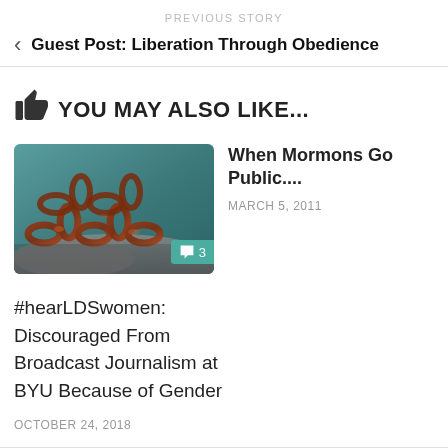PREVIOUS STORY
< Guest Post: Liberation Through Obedience
YOU MAY ALSO LIKE...
[Figure (photo): Close-up photograph of rusty chain links on a rocky surface with teal/blue tones]
When Mormons Go Public....
MARCH 5, 2011
#hearLDSwomen: Discouraged From Broadcast Journalism at BYU Because of Gender
OCTOBER 24, 2018